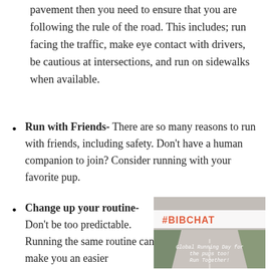pavement then you need to ensure that you are following the rule of the road. This includes; run facing the traffic, make eye contact with drivers, be cautious at intersections, and run on sidewalks when available.
Run with Friends- There are so many reasons to run with friends, including safety. Don't have a human companion to join? Consider running with your favorite pup.
Change up your routine- Don't be too predictable. Running the same routine can make you an easier
[Figure (photo): A photo of a running path/road with a #BIBCHAT banner overlay and text reading 'Global Running Day for the pups too! Run Together!']